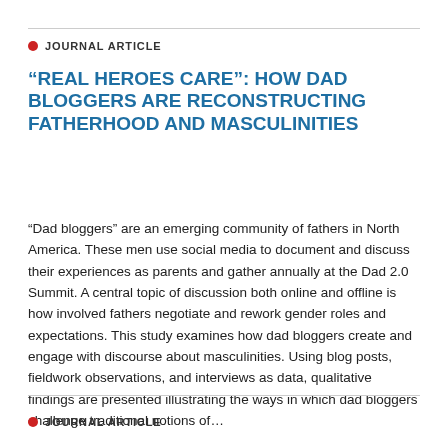JOURNAL ARTICLE
“REAL HEROES CARE”: HOW DAD BLOGGERS ARE RECONSTRUCTING FATHERHOOD AND MASCULINITIES
“Dad bloggers” are an emerging community of fathers in North America. These men use social media to document and discuss their experiences as parents and gather annually at the Dad 2.0 Summit. A central topic of discussion both online and offline is how involved fathers negotiate and rework gender roles and expectations. This study examines how dad bloggers create and engage with discourse about masculinities. Using blog posts, fieldwork observations, and interviews as data, qualitative findings are presented illustrating the ways in which dad bloggers challenge traditional notions of…
JOURNAL ARTICLE